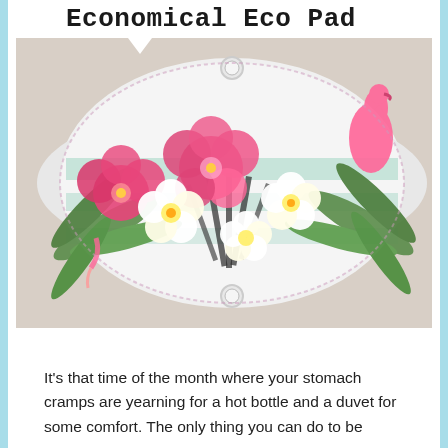Economical Eco Pad
[Figure (photo): A reusable cloth menstrual pad with a tropical flamingo and floral pattern (pink hibiscus, plumeria, green palm leaves on light blue/white background), oval/shield shape with snap buttons, photographed on a beige/grey surface.]
It's that time of the month where your stomach cramps are yearning for a hot bottle and a duvet for some comfort. The only thing you can do to be